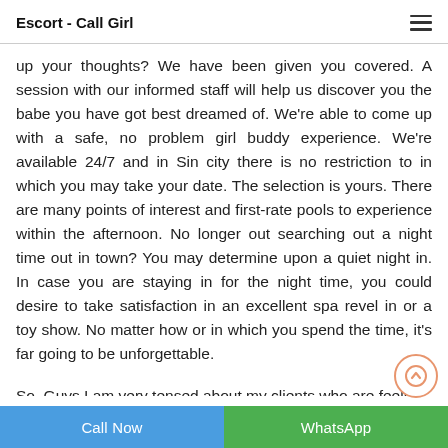Escort - Call Girl
up your thoughts? We have been given you covered. A session with our informed staff will help us discover you the babe you have got best dreamed of. We're able to come up with a safe, no problem girl buddy experience. We're available 24/7 and in Sin city there is no restriction to in which you may take your date. The selection is yours. There are many points of interest and first-rate pools to experience within the afternoon. No longer out searching out a night time out in town? You may determine upon a quiet night in. In case you are staying in for the night time, you could desire to take satisfaction in an excellent spa revel in or a toy show. No matter how or in which you spend the time, it's far going to be unforgettable.
So, Guys I am very tensed about my clients who are feeling
Call Now | WhatsApp